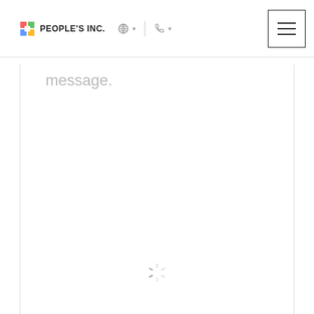PEOPLE'S INC.
message.
[Figure (other): Loading spinner icon (dashed circle indicating content is loading)]